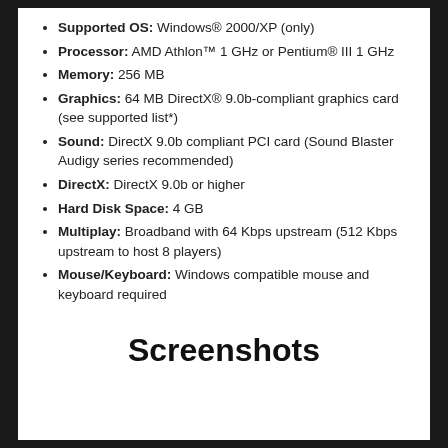Supported OS: Windows® 2000/XP (only)
Processor: AMD Athlon™ 1 GHz or Pentium® III 1 GHz
Memory: 256 MB
Graphics: 64 MB DirectX® 9.0b-compliant graphics card (see supported list*)
Sound: DirectX 9.0b compliant PCI card (Sound Blaster Audigy series recommended)
DirectX: DirectX 9.0b or higher
Hard Disk Space: 4 GB
Multiplay: Broadband with 64 Kbps upstream (512 Kbps upstream to host 8 players)
Mouse/Keyboard: Windows compatible mouse and keyboard required
Screenshots